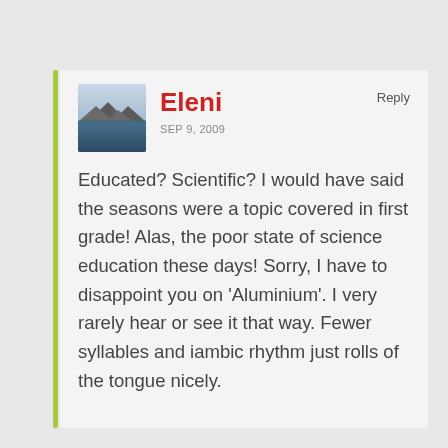Eleni
SEP 9, 2009
Reply
Educated? Scientific? I would have said the seasons were a topic covered in first grade! Alas, the poor state of science education these days! Sorry, I have to disappoint you on 'Aluminium'. I very rarely hear or see it that way. Fewer syllables and iambic rhythm just rolls of the tongue nicely.